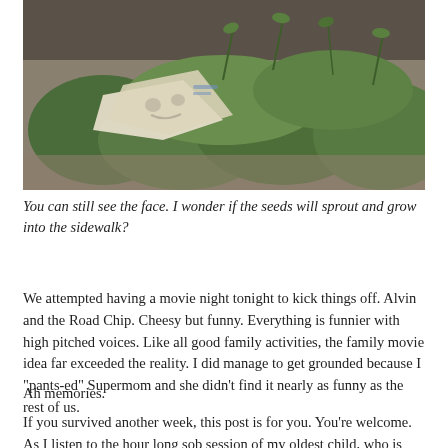[Figure (photo): Outdoor photo showing crumpled paper or bag with a face visible on it, surrounded by green plants and small rocks/gravel on the ground.]
You can still see the face. I wonder if the seeds will sprout and grow into the sidewalk?
We attempted having a movie night tonight to kick things off. Alvin and the Road Chip. Cheesy but funny. Everything is funnier with high pitched voices. Like all good family activities, the family movie idea far exceeded the reality. I did manage to get grounded because I "pants-ed" Supermom and she didn't find it nearly as funny as the rest of us.
Ah memories.
If you survived another week, this post is for you. You're welcome. As I listen to the hour long sob session of my oldest child, who is beyond tired and crying because she has the wrong blanket and her sister who finally fell asleep has the one she wants, I take solace in